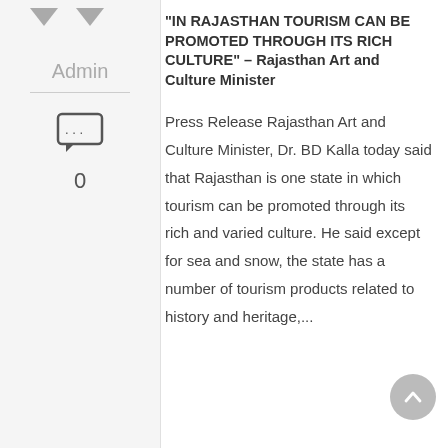Admin
“IN RAJASTHAN TOURISM CAN BE PROMOTED THROUGH ITS RICH CULTURE” – Rajasthan Art and Culture Minister
Press Release Rajasthan Art and Culture Minister, Dr. BD Kalla today said that Rajasthan is one state in which tourism can be promoted through its rich and varied culture. He said except for sea and snow, the state has a number of tourism products related to history and heritage,...